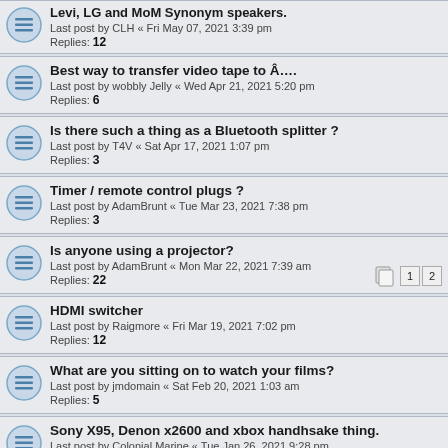Best way to transfer video tape to Â….
Last post by wobbly Jelly « Wed Apr 21, 2021 5:20 pm
Replies: 6
Is there such a thing as a Bluetooth splitter ?
Last post by T4V « Sat Apr 17, 2021 1:07 pm
Replies: 3
Timer / remote control plugs ?
Last post by AdamBrunt « Tue Mar 23, 2021 7:38 pm
Replies: 3
Is anyone using a projector?
Last post by AdamBrunt « Mon Mar 22, 2021 7:39 am
Replies: 22
HDMI switcher
Last post by Raigmore « Fri Mar 19, 2021 7:02 pm
Replies: 12
What are you sitting on to watch your films?
Last post by jmdomain « Sat Feb 20, 2021 1:03 am
Replies: 5
Sony X95, Denon x2600 and xbox handhsake thing.
Last post by Colonial Marine « Tue Jan 26, 2021 9:28 pm
Replies: 2
Sky Q & Powerline Adapters
Last post by Raigmore « Mon Nov 09, 2020 2:30 pm
Replies: 25